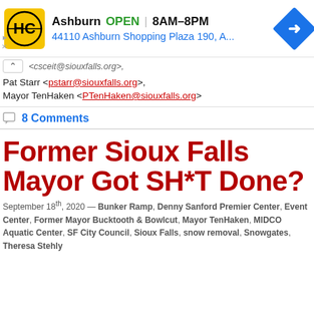[Figure (infographic): Advertisement banner: HC logo (yellow background, black H|C letters in circle), Ashburn OPEN 8AM-8PM, 44110 Ashburn Shopping Plaza 190, A..., blue turn arrow icon]
<csceit@siouxfalls.org>,
Pat Starr <pstarr@siouxfalls.org>,
Mayor TenHaken <PTenHaken@siouxfalls.org>
8 Comments
Former Sioux Falls Mayor Got SH*T Done?
September 18th, 2020 — Bunker Ramp, Denny Sanford Premier Center, Event Center, Former Mayor Bucktooth & Bowlcut, Mayor TenHaken, MIDCO Aquatic Center, SF City Council, Sioux Falls, snow removal, Snowgates, Theresa Stehly